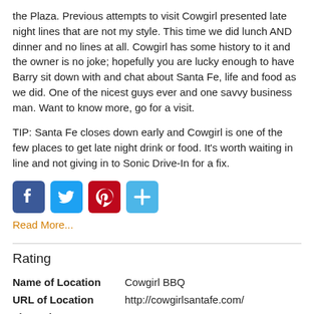the Plaza. Previous attempts to visit Cowgirl presented late night lines that are not my style. This time we did lunch AND dinner and no lines at all. Cowgirl has some history to it and the owner is no joke; hopefully you are lucky enough to have Barry sit down with and chat about Santa Fe, life and food as we did. One of the nicest guys ever and one savvy business man. Want to know more, go for a visit.
TIP: Santa Fe closes down early and Cowgirl is one of the few places to get late night drink or food. It’s worth waiting in line and not giving in to Sonic Drive-In for a fix.
[Figure (other): Social sharing icons: Facebook (blue), Twitter (blue), Pinterest (red), Add/Share (light blue)]
Read More...
Rating
| Name of Location | Cowgirl BBQ |
| URL of Location | http://cowgirlsantafe.com/ |
| Zip Code | 87501 |
| Total | 42/50 |